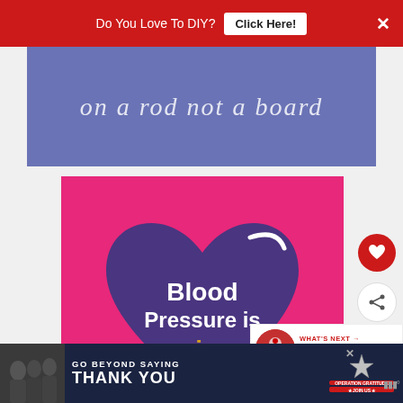[Figure (screenshot): Red advertisement banner at top with white text 'Do You Love To DIY?' and white 'Click Here!' button, with X close button]
[Figure (screenshot): Blue-purple banner with large italic serif white text reading 'on a rod not a board']
[Figure (infographic): Pink square infographic with large purple heart shape and bold white text 'Blood Pressure is' and gold text 'serious']
[Figure (screenshot): Right sidebar with red heart button and white share button, plus 'WHAT'S NEXT' widget showing Box Pleat Scrap Fabric article thumbnail]
[Figure (screenshot): Bottom dark navy advertisement banner: 'GO BEYOND SAYING THANK YOU' with Operation Gratitude logo and JOIN US button, with people photo on left]